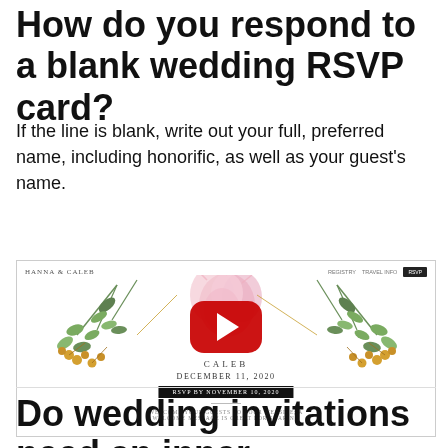How do you respond to a blank wedding RSVP card?
If the line is blank, write out your full, preferred name, including honorific, as well as your guest's name.
[Figure (screenshot): Screenshot of a wedding website for Hanna & Caleb showing a YouTube video embed with floral decorations, date December 11, 2020, and RSVP by November 10, 2020 button]
Do wedding invitations need an inner envelope?